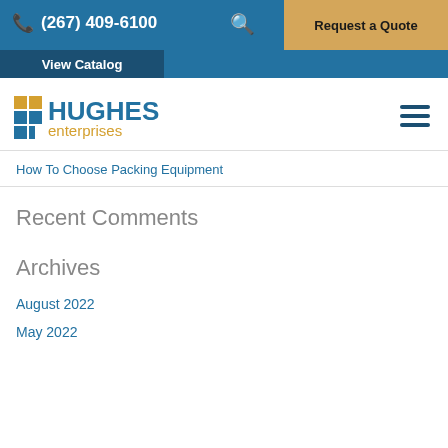(267) 409-6100  Request a Quote  View Catalog
[Figure (logo): Hughes Enterprises logo with orange and blue icon and text]
How To Choose Packing Equipment
Recent Comments
Archives
August 2022
May 2022